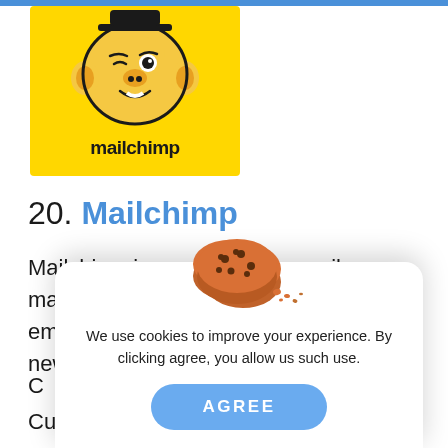[Figure (logo): Mailchimp logo: cartoon monkey winking on yellow background with 'mailchimp' text below]
20. Mailchimp
Mailchimp is a well-known email marketing platform. It lets you create email campaigns and send out newsletters to keep your customers
C                                                                    s
Cu
If
P
g
[Figure (illustration): Cookie consent popup with cookie image, text 'We use cookies to improve your experience. By clicking agree, you allow us such use.' and AGREE button]
We use cookies to improve your experience. By clicking agree, you allow us such use.